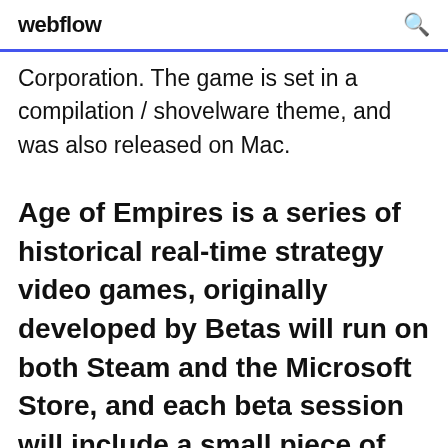webflow
Corporation. The game is set in a compilation / shovelware theme, and was also released on Mac.
Age of Empires is a series of historical real-time strategy video games, originally developed by Betas will run on both Steam and the Microsoft Store, and each beta session will include a small piece of the game. for the Windows version and PhysX for the Mac OS X. The